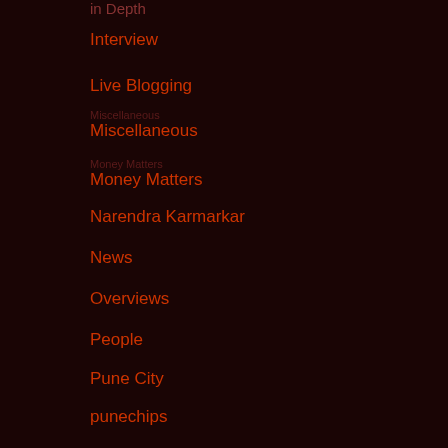in Depth
Interview
Live Blogging
Miscellaneous
Money Matters
Narendra Karmarkar
News
Overviews
People
Pune City
punechips
punetech
Technology
video
Websites